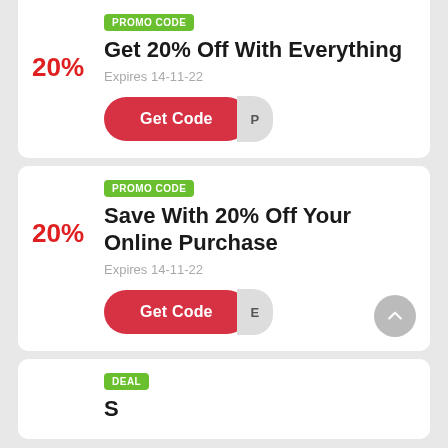[Figure (infographic): Promo code coupon card showing 20% off with everything, expires 14-11-22, with Get Code button]
[Figure (infographic): Promo code coupon card showing Save With 20% Off Your Online Purchase, expires 14-11-22, with Get Code button and scroll-to-top button]
[Figure (infographic): Deal badge partially visible at bottom of page]